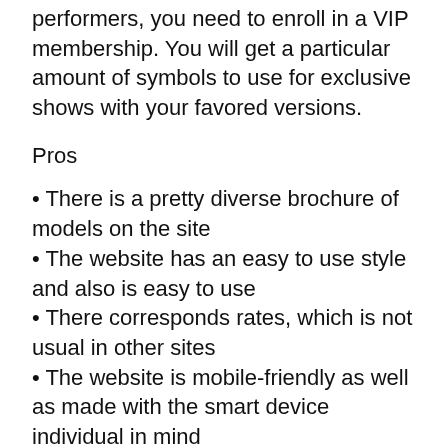performers, you need to enroll in a VIP membership. You will get a particular amount of symbols to use for exclusive shows with your favored versions.
Pros
• There is a pretty diverse brochure of models on the site
• The website has an easy to use style and also is easy to use
• There corresponds rates, which is not usual in other sites
• The website is mobile-friendly as well as made with the smart device individual in mind
Disadvantages